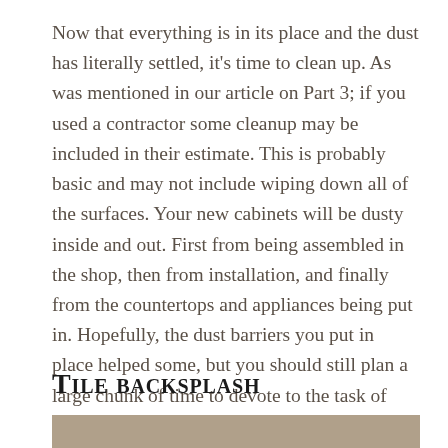Now that everything is in its place and the dust has literally settled, it's time to clean up.  As was mentioned in our article on Part 3; if you used a contractor some cleanup may be included in their estimate.  This is probably basic and may not include wiping down all of the surfaces.  Your new cabinets will be dusty inside and out.  First from being assembled in the shop, then from installation, and finally from the countertops and appliances being put in.  Hopefully, the dust barriers you put in place helped some, but you should still plan a large chunk of time to devote to the task of straightening up.
Tile backsplash
[Figure (photo): Partial view of a tile backsplash photo, cropped at bottom of page]